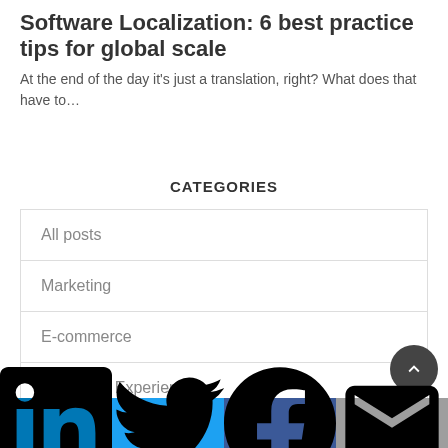Software Localization: 6 best practice tips for global scale
At the end of the day it's just a translation, right? What does that have to...
CATEGORIES
All posts
Marketing
E-commerce
Customer Experience
Developers
LinkedIn | Twitter | Facebook | Email